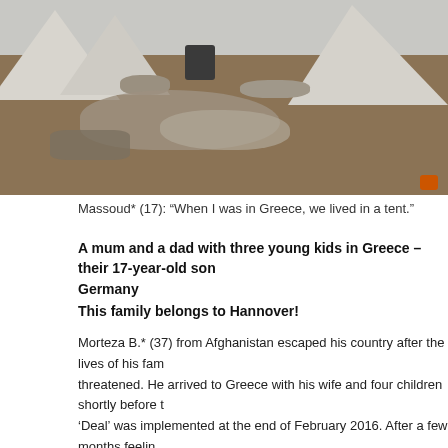[Figure (photo): A muddy refugee camp with white tents, a black barrel, rocks and debris on a dirt ground near Athens, Greece.]
Massoud* (17): “When I was in Greece, we lived in a tent.”
A mum and a dad with three young kids in Greece – their 17-year-old son Germany
This family belongs to Hannover!
Morteza B.* (37) from Afghanistan escaped his country after the lives of his fam threatened. He arrived to Greece with his wife and four children shortly before t ‘Deal’ was implemented at the end of February 2016. After a few months feelin Greek emergency refugee camp near Athens, the family tried to continue their j the Balkans.